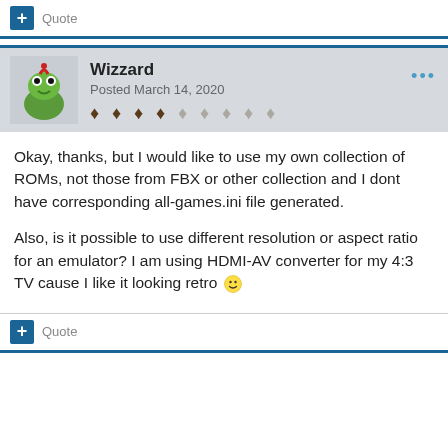+ Quote
Wizzard
Posted March 14, 2020
Okay, thanks, but I would like to use my own collection of ROMs, not those from FBX or other collection and I dont have corresponding all-games.ini file generated.
Also, is it possible to use different resolution or aspect ratio for an emulator? I am using HDMI-AV converter for my 4:3 TV cause I like it looking retro 🙂
+ Quote